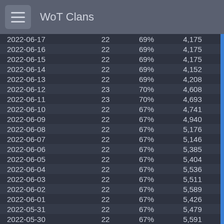WoT Clans
| Date | Members | Win% | Battles | WR% |
| --- | --- | --- | --- | --- |
| 2022-06-17 | 22 | 69% | 4,175 | 51.7% |
| 2022-06-16 | 22 | 69% | 4,175 | 51.7% |
| 2022-06-15 | 22 | 69% | 4,175 | 51.7% |
| 2022-06-14 | 22 | 69% | 4,152 | 51.6% |
| 2022-06-13 | 22 | 69% | 4,208 | 52.0% |
| 2022-06-12 | 23 | 70% | 4,608 | 52.2% |
| 2022-06-11 | 23 | 70% | 4,693 | 52.1% |
| 2022-06-10 | 22 | 67% | 4,741 | 52.2% |
| 2022-06-09 | 22 | 67% | 4,940 | 52.2% |
| 2022-06-08 | 22 | 67% | 5,176 | 52.2% |
| 2022-06-07 | 22 | 67% | 5,146 | 52.1% |
| 2022-06-06 | 22 | 67% | 5,385 | 52.2% |
| 2022-06-05 | 22 | 67% | 5,404 | 52.3% |
| 2022-06-04 | 22 | 67% | 5,536 | 52.2% |
| 2022-06-03 | 22 | 67% | 5,511 | 52.2% |
| 2022-06-02 | 22 | 67% | 5,589 | 52.3% |
| 2022-06-01 | 22 | 67% | 5,426 | 52.3% |
| 2022-05-31 | 22 | 67% | 5,479 | 52.3% |
| 2022-05-30 | 22 | 67% | 5,591 | 52.2% |
| 2022-05-29 | 22 | 67% | 5,702 | 52.2% |